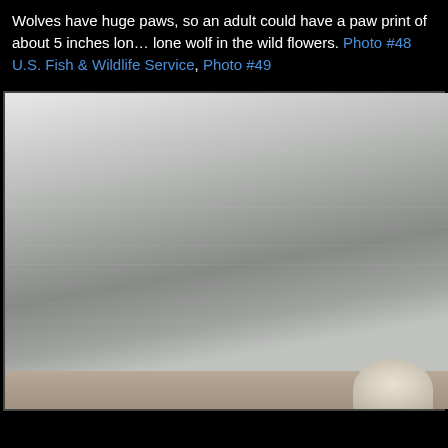Wolves have huge paws, so an adult could have a paw print of about 5 inches long. Photo #48 U.S. Fish & Wildlife Service, Photo #49 lone wolf in the wild flowers.
[Figure (photo): Photograph of a wolf partially visible at the bottom right corner, set against a large sand dune with subtle streaked texture in shades of grey, and a gravelly ground strip at the bottom.]